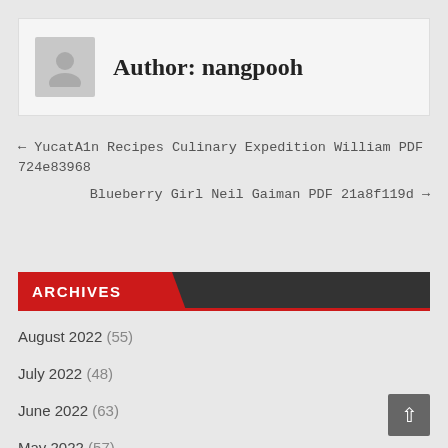Author: nangpooh
← YucatA1n Recipes Culinary Expedition William PDF 724e83968
Blueberry Girl Neil Gaiman PDF 21a8f119d →
ARCHIVES
August 2022 (55)
July 2022 (48)
June 2022 (63)
May 2022 (57)